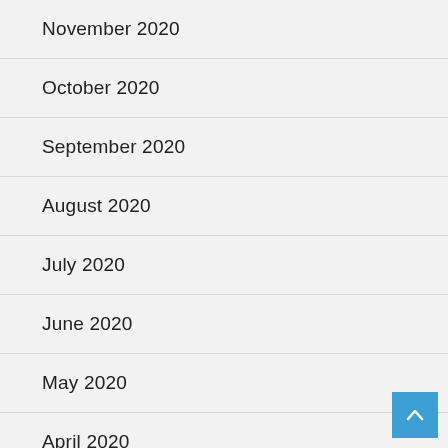November 2020
October 2020
September 2020
August 2020
July 2020
June 2020
May 2020
April 2020